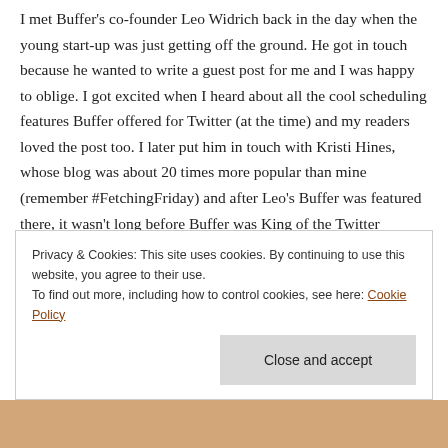I met Buffer's co-founder Leo Widrich back in the day when the young start-up was just getting off the ground. He got in touch because he wanted to write a guest post for me and I was happy to oblige. I got excited when I heard about all the cool scheduling features Buffer offered for Twitter (at the time) and my readers loved the post too. I later put him in touch with Kristi Hines, whose blog was about 20 times more popular than mine (remember #FetchingFriday) and after Leo's Buffer was featured there, it wasn't long before Buffer was King of the Twitter Scheduling Hill! After experimenting with a dozen or more social media scheduling tools (some free, some paid) I always seemed to come back home to Buffer. I remember when they purchased the DiggDigg social sharing plugin – I even did a video tutorial for DiggDigg back in
Privacy & Cookies: This site uses cookies. By continuing to use this website, you agree to their use.
To find out more, including how to control cookies, see here: Cookie Policy
Close and accept